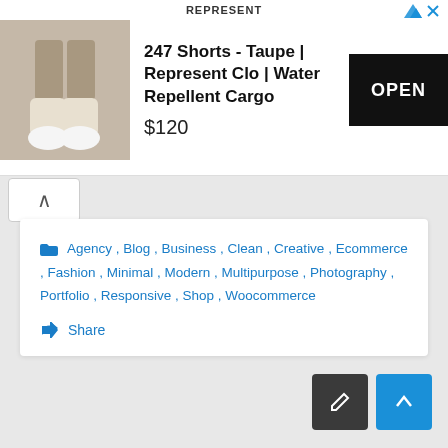[Figure (screenshot): Advertisement banner for '247 Shorts - Taupe | Represent Clo | Water Repellent Cargo' priced at $120 with an OPEN button, showing a product image of legs in cargo shorts and white sneakers.]
Agency , Blog , Business , Clean , Creative , Ecommerce , Fashion , Minimal , Modern , Multipurpose , Photography , Portfolio , Responsive , Shop , Woocommerce
Share